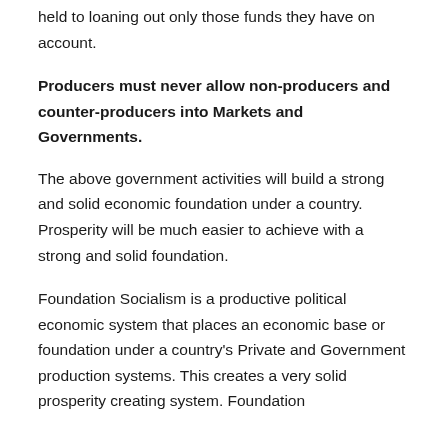held to loaning out only those funds they have on account.
Producers must never allow non-producers and counter-producers into Markets and Governments.
The above government activities will build a strong and solid economic foundation under a country. Prosperity will be much easier to achieve with a strong and solid foundation.
Foundation Socialism is a productive political economic system that places an economic base or foundation under a country's Private and Government production systems. This creates a very solid prosperity creating system. Foundation